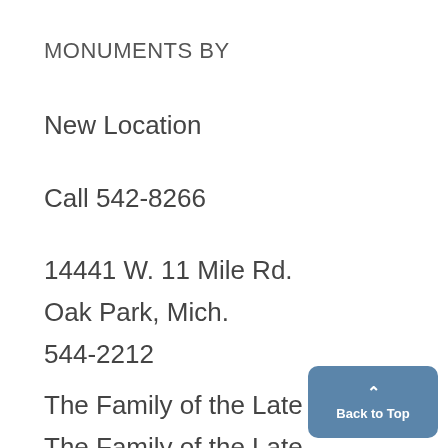MONUMENTS BY
New Location
Call 542-8266
14441 W. 11 Mile Rd.
Oak Park, Mich.
544-2212
The Family of the Late
The Family of the Late